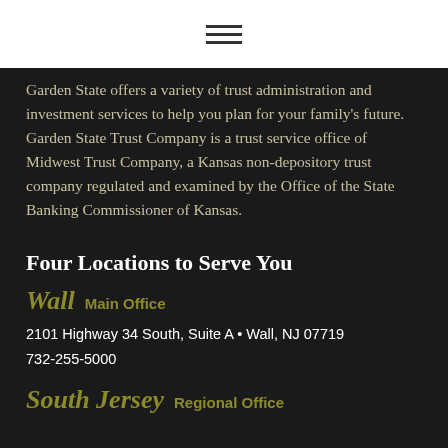Garden State offers a variety of trust administration and investment services to help you plan for your family's future. Garden State Trust Company is a trust service office of Midwest Trust Company, a Kansas non-depository trust company regulated and examined by the Office of the State Banking Commissioner of Kansas.
Four Locations to Serve You
Wall  Main Office
2101 Highway 34 South, Suite A • Wall, NJ 07719
732-255-5000
South Jersey  Regional Office